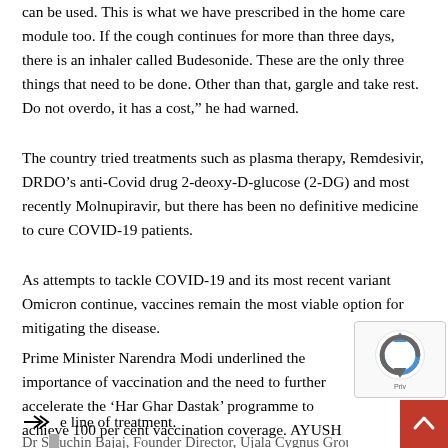can be used. This is what we have prescribed in the home care module too. If the cough continues for more than three days, there is an inhaler called Budesonide. These are the only three things that need to be done. Other than that, gargle and take rest. Do not overdo, it has a cost,” he had warned.
The country tried treatments such as plasma therapy, Remdesivir, DRDO’s anti-Covid drug 2-deoxy-D-glucose (2-DG) and most recently Molnupiravir, but there has been no definitive medicine to cure COVID-19 patients.
As attempts to tackle COVID-19 and its most recent variant Omicron continue, vaccines remain the most viable option for mitigating the disease.
Prime Minister Narendra Modi underlined the importance of vaccination and the need to further accelerate the ‘Har Ghar Dastak’ programme to achieve 100 per cent vaccination coverage. AYUSH interventions and Yoga found a speci… e line of treatment.
Dr Sauchin Bajaj, Founder Director, Ujala Cygnus Group of...